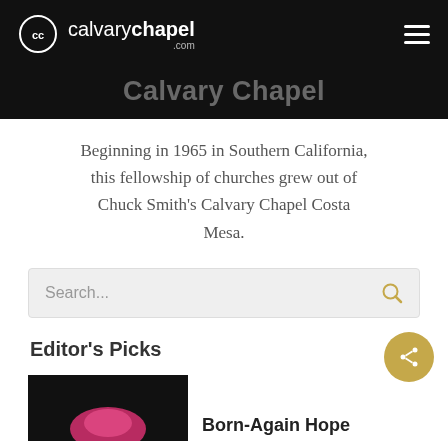calvarychapel.com
Calvary Chapel
Beginning in 1965 in Southern California, this fellowship of churches grew out of Chuck Smith's Calvary Chapel Costa Mesa.
Search...
Editor's Picks
Born-Again Hope